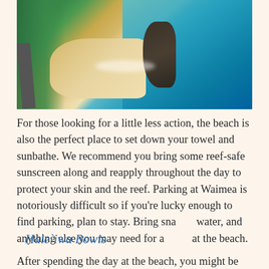[Figure (photo): Aerial view of a Hawaiian beach (likely Waimea Bay) showing a road along green vegetation on the left, a sandy beach in the center, dark rock formations jutting into turquoise ocean water on the right.]
For those looking for a little less action, the beach is also the perfect place to set down your towel and sunbathe. We recommend you bring some reef-safe sunscreen along and reapply throughout the day to protect your skin and the reef. Parking at Waimea is notoriously difficult so if you're lucky enough to find parking, plan to stay. Bring snacks, water, and anything else you may need for a day at the beach.
Hale`iwa Bowls
After spending the day at the beach, you might be